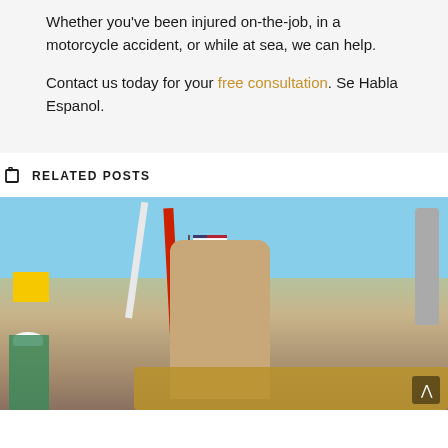Whether you've been injured on-the-job, in a motorcycle accident, or while at sea, we can help.
Contact us today for your free consultation. Se Habla Espanol.
RELATED POSTS
[Figure (photo): Construction worker wearing a white hard hat and glasses leaning over heavy chains at a work site. Background includes cranes, an American flag, yellow caution signage, and other workers in safety vests.]